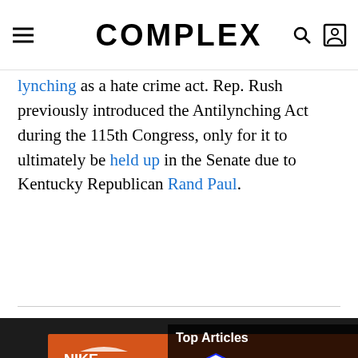COMPLEX
lynching as a hate crime act. Rep. Rush previously introduced the Antilynching Act during the 115th Congress, only for it to ultimately be held up in the Senate due to Kentucky Republican Rand Paul.
[Figure (photo): Two men standing in front of stacked Nike, Reebok, and other sneaker boxes. One man wears a grey cap. Full Size Run logo overlaid. Top Articles popup box visible in upper right of image. Bottom black bar with right arrow.]